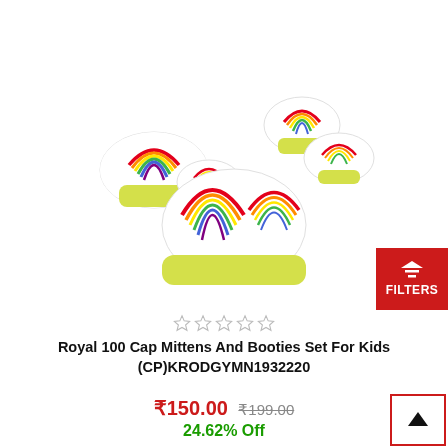[Figure (photo): Baby set including mittens, booties, and cap with colorful rainbow pattern on white fabric with yellow/green trim]
☆☆☆☆☆
Royal 100 Cap Mittens And Booties Set For Kids (CP)KRODGYMN1932220
₹150.00  ₹199.00  24.62% Off